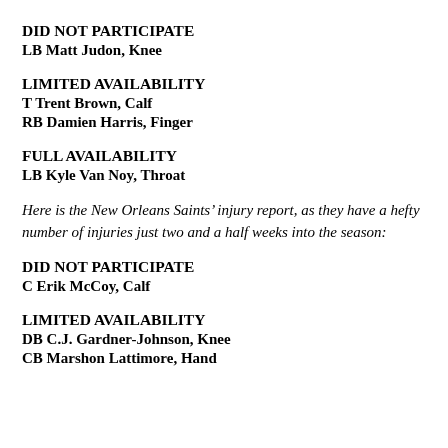DID NOT PARTICIPATE
LB Matt Judon, Knee
LIMITED AVAILABILITY
T Trent Brown, Calf
RB Damien Harris, Finger
FULL AVAILABILITY
LB Kyle Van Noy, Throat
Here is the New Orleans Saints’ injury report, as they have a hefty number of injuries just two and a half weeks into the season:
DID NOT PARTICIPATE
C Erik McCoy, Calf
LIMITED AVAILABILITY
DB C.J. Gardner-Johnson, Knee
CB Marshon Lattimore, Hand